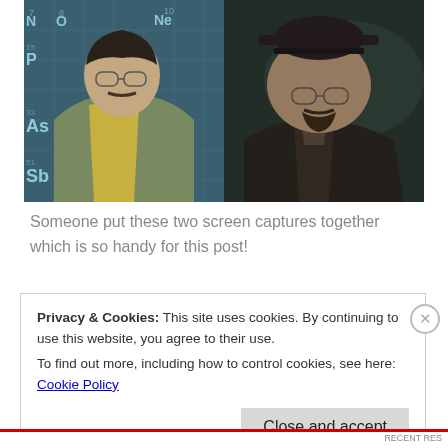[Figure (photo): Side-by-side composite of two screen captures from Breaking Bad: on the left, Walter White as a teacher with glasses and mustache in front of a periodic table, wearing a yellow shirt and jacket; on the right, Walter White as Heisenberg wearing a dark hat and glasses with a goatee, in darker lighting.]
Someone put these two screen captures together which is so handy for this post!
Privacy & Cookies: This site uses cookies. By continuing to use this website, you agree to their use.
To find out more, including how to control cookies, see here: Cookie Policy
Close and accept